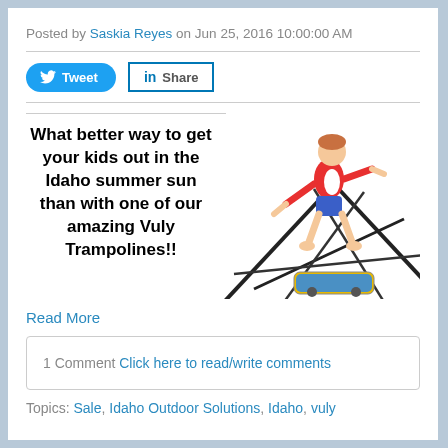Posted by Saskia Reyes on Jun 25, 2016 10:00:00 AM
[Figure (screenshot): Tweet and LinkedIn Share social sharing buttons]
[Figure (photo): Person jumping on a trampoline with a skateboard on the trampoline surface]
What better way to get your kids out in the Idaho summer sun than with one of our amazing Vuly Trampolines!!
Read More
1 Comment Click here to read/write comments
Topics: Sale, Idaho Outdoor Solutions, Idaho, vuly